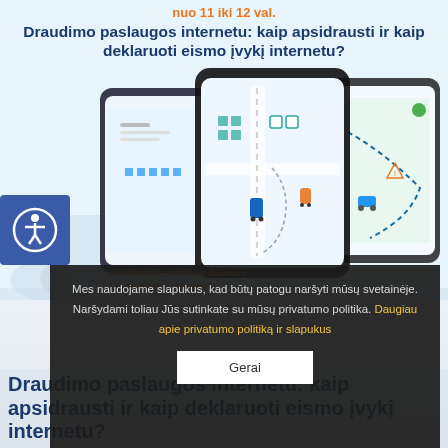nuo 11 iki 12 val.
Draudimo paslaugos internetu: kaip apsidrausti ir kaip deklaruoti eismo įvykį internetu?
[Figure (screenshot): Smartphone screens showing a traffic accident declaration mobile app with a map/diagram interface]
[Figure (illustration): Accessibility icon button (person with circle) on blue background]
Naujienomis seminare dalinsies LR transporto priemonių
Mes naudojame slapukus, kad būtų patogu naršyti mūsų svetainėje. Naršydami toliau Jūs sutinkate su mūsų privatumo politika. Daugiau apie privatumo politiką ir slapukus
Gerai
Draudimo paslaugos internetu: kaip apsidrausti ir kaip deklaruoti eismo įvykį internetu?